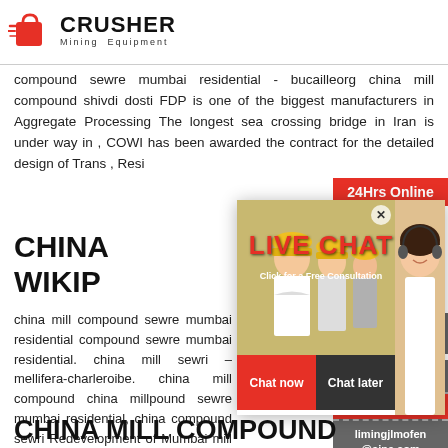[Figure (logo): Crusher Mining Equipment logo with red shopping bag icon and bold CRUSHER text]
compound sewre mumbai residential - bucailleorg china mill compound shivdi dosti FDP is one of the biggest manufacturers in Aggregate Processing The longest sea crossing bridge in Iran is under way in , COWI has been awarded the contract for the detailed design of Trans , Resi
CHINA MILL
WIKIPEDIA
[Figure (photo): Live Chat overlay widget with construction workers photo on left, customer service representative on right, LIVE CHAT title in red, Chat now and Chat later buttons]
china mill compound sewre mumbai residential compound sewre mumbai residential. china mill sewri – mellifera-charleroibe. china mill compound china millpound sewre mumbai residential, china compound sewri Redevelopment of Mumbai mill Wikipedia, the free encyclopedia The contact su mill compound sewri – Geo Genesis.
CHINA MILL COMPOUND